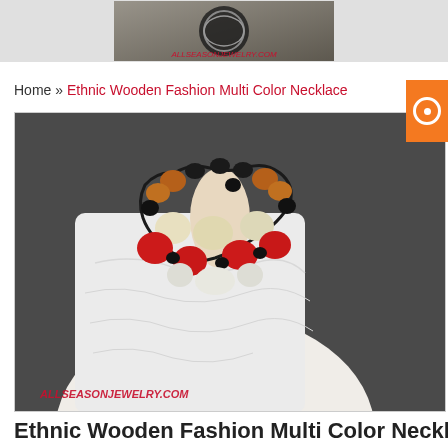[Figure (photo): Website header image for ALLSEASONJEWELRY.COM showing decorative tribal item]
Home » Ethnic Wooden Fashion Multi Color Necklace
[Figure (photo): Product photo of an ethnic wooden fashion multi color necklace with red, black, white, cream, and orange-brown beads on a cord, worn by a model in a white top. Watermark reads ALLSEASONJEWELRY.COM]
Ethnic Wooden Fashion Multi Color Necklac
Product Code: ASJ296WN
Availability: In Stock
Price: $3.15